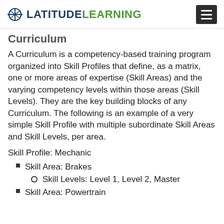LatitudeLearning
Curriculum
A Curriculum is a competency-based training program organized into Skill Profiles that define, as a matrix, one or more areas of expertise (Skill Areas) and the varying competency levels within those areas (Skill Levels). They are the key building blocks of any Curriculum. The following is an example of a very simple Skill Profile with multiple subordinate Skill Areas and Skill Levels, per area.
Skill Profile: Mechanic
Skill Area: Brakes
Skill Levels: Level 1, Level 2, Master
Skill Area: Powertrain